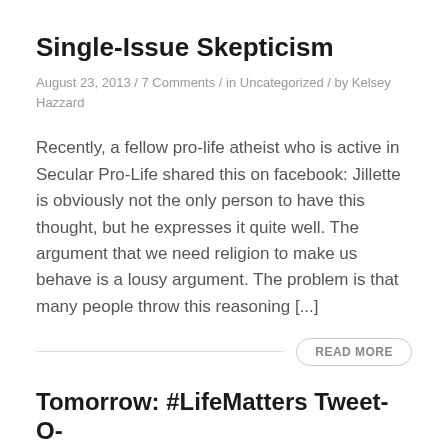Single-Issue Skepticism
August 23, 2013 / 7 Comments / in Uncategorized / by Kelsey Hazzard
Recently, a fellow pro-life atheist who is active in Secular Pro-Life shared this on facebook: Jillette is obviously not the only person to have this thought, but he expresses it quite well. The argument that we need religion to make us behave is a lousy argument. The problem is that many people throw this reasoning [...]
READ MORE
Tomorrow: #LifeMatters Tweet-O-